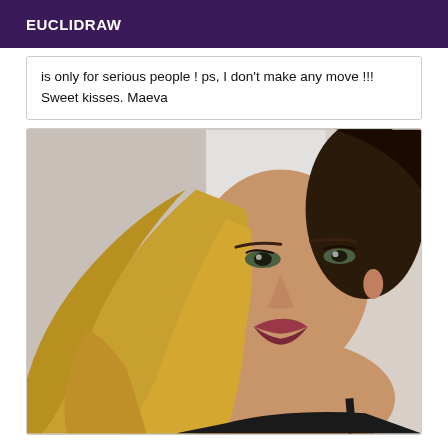EUCLIDRAW
is only for serious people ! ps, I don't make any move !!! Sweet kisses. Maeva
[Figure (photo): Close-up photo of a young woman with long wavy blonde hair, wearing a dark strap top, looking directly at the camera with a neutral expression. Background is blurred and light-colored.]